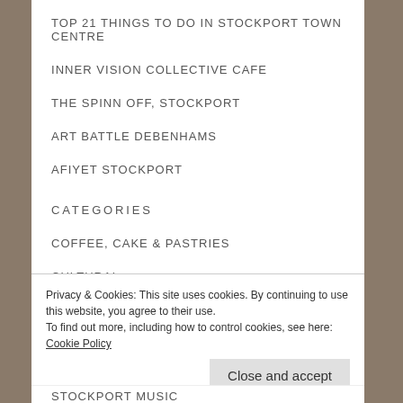TOP 21 THINGS TO DO IN STOCKPORT TOWN CENTRE
INNER VISION COLLECTIVE CAFE
THE SPINN OFF, STOCKPORT
ART BATTLE DEBENHAMS
AFIYET STOCKPORT
CATEGORIES
COFFEE, CAKE & PASTRIES
CULTURAL
DRINK
Privacy & Cookies: This site uses cookies. By continuing to use this website, you agree to their use.
To find out more, including how to control cookies, see here: Cookie Policy
STOCKPORT MUSIC